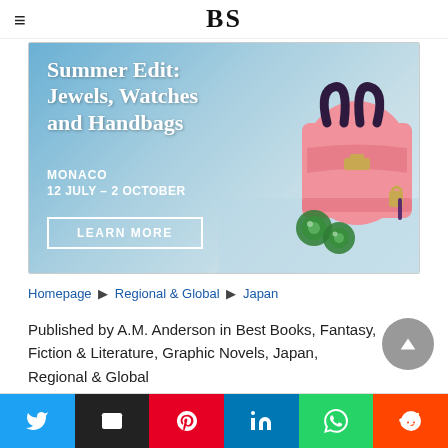BS
[Figure (illustration): Advertisement banner for auction house showing pink Birkin handbag with text: Summer Edit: Jewels, Watches and Handbags. Monaco 12 July – 2 October. Learn More button.]
Homepage  ▶  Regional & Global  ▶  Japan
Published by A.M. Anderson in Best Books, Fantasy, Fiction & Literature, Graphic Novels, Japan, Regional & Global